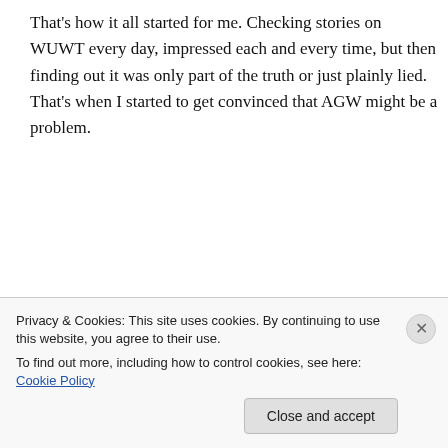That's how it all started for me. Checking stories on WUWT every day, impressed each and every time, but then finding out it was only part of the truth or just plainly lied. That's when I started to get convinced that AGW might be a problem.
Kevin McKinney on March 4, 2013 at 10:09 pm
Second that–I had much the same experience, albeit on a chat group. And it is
Privacy & Cookies: This site uses cookies. By continuing to use this website, you agree to their use.
To find out more, including how to control cookies, see here: Cookie Policy
Close and accept